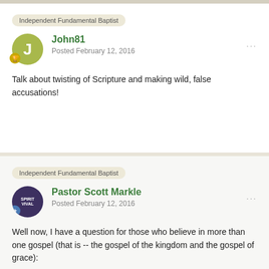Independent Fundamental Baptist
John81
Posted February 12, 2016
Talk about twisting of Scripture and making wild, false accusations!
Independent Fundamental Baptist
Pastor Scott Markle
Posted February 12, 2016
Well now, I have a question for those who believe in more than one gospel (that is -- the gospel of the kingdom and the gospel of grace):